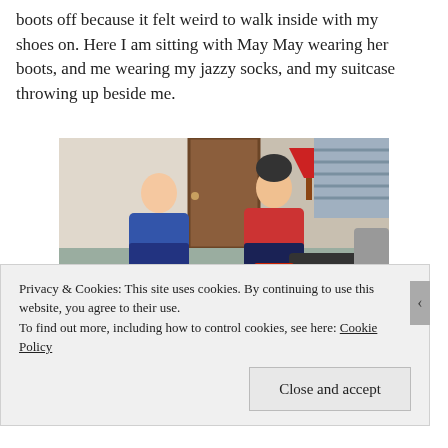boots off because it felt weird to walk inside with my shoes on. Here I am sitting with May May wearing her boots, and me wearing my jazzy socks, and my suitcase throwing up beside me.
[Figure (photo): Two women sitting on the floor of a room surrounded by luggage and bags. One woman wears a blue top, the other a red floral top. A red lamp and striped bedding are visible in the background.]
Privacy & Cookies: This site uses cookies. By continuing to use this website, you agree to their use.
To find out more, including how to control cookies, see here: Cookie Policy